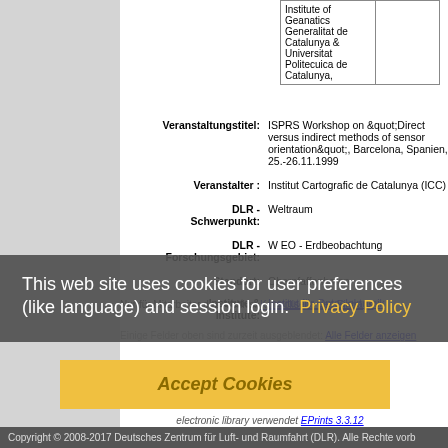| Institute of Geanatics Generalitat de Catalunya & Universitat Politecuica de Catalunya, |  |
Veranstaltungstitel: ISPRS Workshop on "Direct versus indirect methods of sensor orientation", Barcelona, Spanien, 25.-26.11.1999
Veranstalter : Institut Cartografic de Catalunya (ICC)
DLR - Schwerpunkt: Weltraum
DLR - Forschungsgebiet: W EO - Erdbeobachtung
Standort: Oberpfaffenhofen
Institute & Institute: Institut für Optoelektronik
Nur für Mitarbeiter des Archivs: Kontrollseite des Eintrags
Einige Felder oben sind zurzeit ausgeblendet: Alle Felder anzeigen
This web site uses cookies for user preferences (like language) and session login. Privacy Policy
Accept Cookies
electronic library verwendet EPrints 3.3.12
Copyright © 2008-2017 Deutsches Zentrum für Luft- und Raumfahrt (DLR). Alle Rechte vorb…